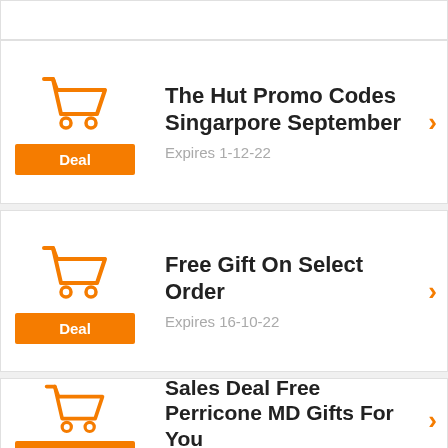[Figure (other): Partial top card (cropped at top)]
[Figure (illustration): Orange shopping cart icon with Deal button]
The Hut Promo Codes Singarpore September
Expires 1-12-22
[Figure (illustration): Orange shopping cart icon with Deal button]
Free Gift On Select Order
Expires 16-10-22
[Figure (illustration): Orange shopping cart icon with Deal button (partial)]
Sales Deal Free Perricone MD Gifts For You